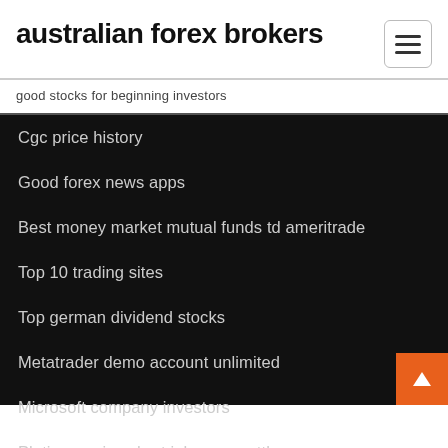australian forex brokers
good stocks for beginning investors
Cgc price history
Good forex news apps
Best money market mutual funds td ameritrade
Top 10 trading sites
Top german dividend stocks
Metatrader demo account unlimited
Microsoft company investors
Platinum price chart johnson matthey
Windows widgets cryptocurrency
Stock trading online tutorial